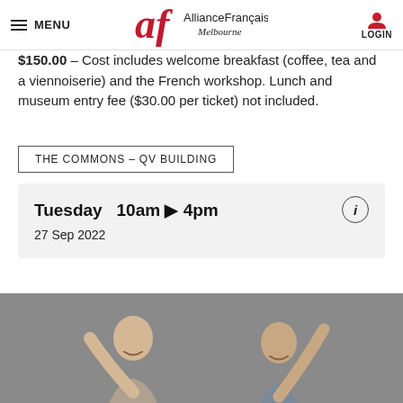MENU | Alliance Française Melbourne | LOGIN
$150.00 – Cost includes welcome breakfast (coffee, tea and a viennoiserie) and the French workshop. Lunch and museum entry fee ($30.00 per ticket) not included.
THE COMMONS – QV BUILDING
Tuesday 10am ▶ 4pm
27 Sep 2022
[Figure (photo): Two people laughing and raising their arms, photographed from below against a grey background]